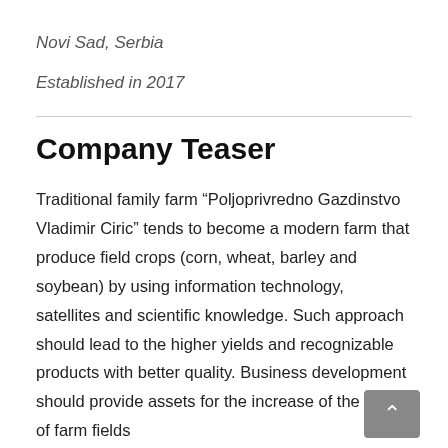Novi Sad, Serbia
Established in 2017
Company Teaser
Traditional family farm “Poljoprivredno Gazdinstvo Vladimir Ciric” tends to become a modern farm that produce field crops (corn, wheat, barley and soybean) by using information technology, satellites and scientific knowledge. Such approach should lead to the higher yields and recognizable products with better quality. Business development should provide assets for the increase of the area of farm fields...